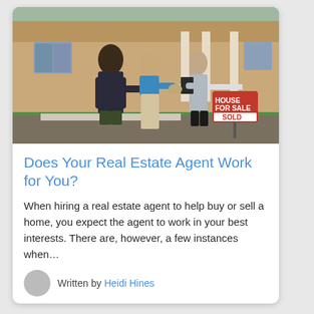[Figure (photo): Two people (a couple) shaking hands with a female real estate agent in front of a house with a 'House for Sale - Sold' sign]
Does Your Real Estate Agent Work for You?
When hiring a real estate agent to help buy or sell a home, you expect the agent to work in your best interests. There are, however, a few instances when…
Written by Heidi Hines